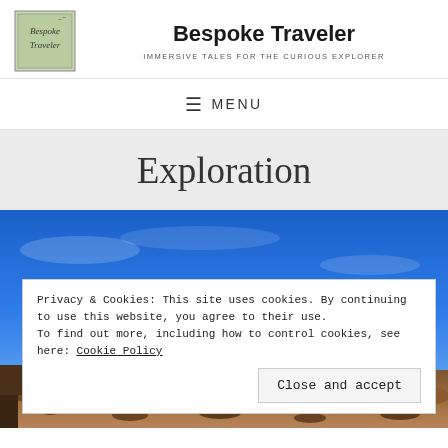Bespoke Traveler — IMMERSIVE TALES FOR THE CURIOUS EXPLORER
MENU
Exploration
[Figure (photo): Outdoor landscape photo showing blue sky and rocky/desert terrain at the bottom]
Privacy & Cookies: This site uses cookies. By continuing to use this website, you agree to their use. To find out more, including how to control cookies, see here: Cookie Policy
Close and accept